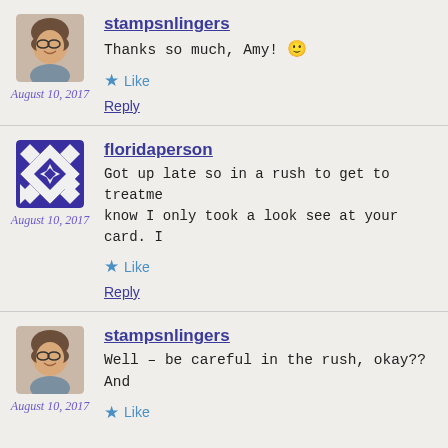stampsnlingers
Thanks so much, Amy! 🙂
August 10, 2017
Like
Reply
floridaperson
Got up late so in a rush to get to treatme... know I only took a look see at your card. I...
August 10, 2017
Like
Reply
stampsnlingers
Well – be careful in the rush, okay?? And
August 10, 2017
Like